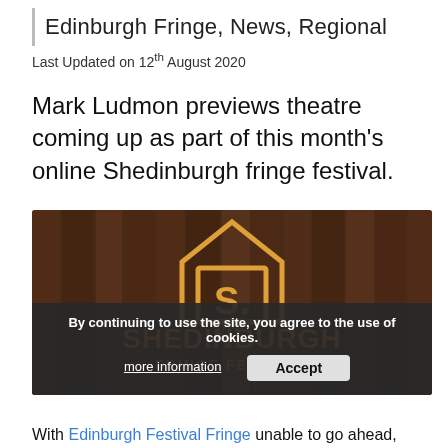Edinburgh Fringe, News, Regional
Last Updated on 12th August 2020
Mark Ludmon previews theatre coming up as part of this month's online Shedinburgh fringe festival.
[Figure (photo): Shedinburgh Fringe Festival promotional image showing a wooden shed background with an orange logo featuring a stylized 'S' inside a house/shed shape, with the text 'SHEDINBURGH -FRINGE FESTIVAL-'. A cookie consent bar overlays the bottom portion reading 'By continuing to use the site, you agree to the use of cookies.' with 'more information' and 'Accept' buttons.]
With Edinburgh Festival Fringe unable to go ahead,